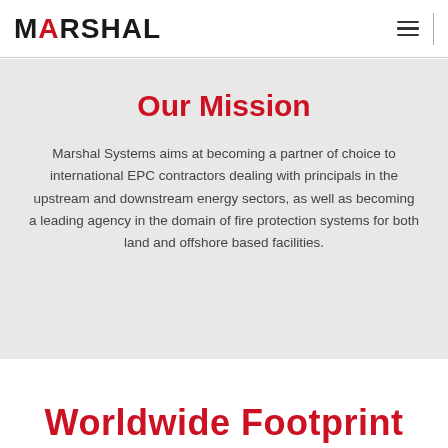MARSHAL [logo with red A]
Our Mission
Marshal Systems aims at becoming a partner of choice to international EPC contractors dealing with principals in the upstream and downstream energy sectors, as well as becoming a leading agency in the domain of fire protection systems for both land and offshore based facilities.
Worldwide Footprint [partial, cropped]